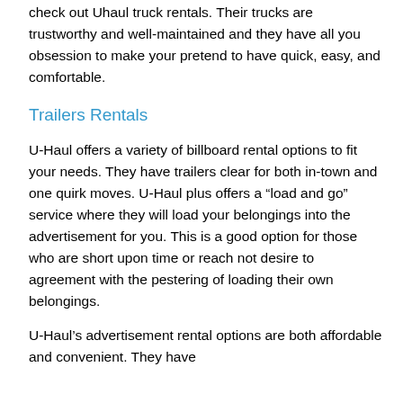check out Uhaul truck rentals. Their trucks are trustworthy and well-maintained and they have all you obsession to make your pretend to have quick, easy, and comfortable.
Trailers Rentals
U-Haul offers a variety of billboard rental options to fit your needs. They have trailers clear for both in-town and one quirk moves. U-Haul plus offers a “load and go” service where they will load your belongings into the advertisement for you. This is a good option for those who are short upon time or reach not desire to agreement with the pestering of loading their own belongings.
U-Haul’s advertisement rental options are both affordable and convenient. They have